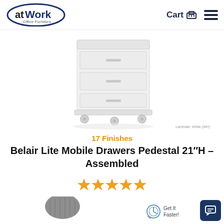[Figure (logo): atWork Office Furniture logo — oval shape with 'atWork' in bold and 'Office Furniture' below]
Cart  ☰
[Figure (photo): White mobile pedestal drawer unit with casters, labeled 'Laminate: White (WH)']
Laminate: White (WH)
17 Finishes
Belair Lite Mobile Drawers Pedestal 21"H – Assembled
[Figure (other): 5 orange star rating icons]
$459.99 – $499.99
[Figure (photo): Partial view of a black mesh chair at bottom of page]
Get It Faster!